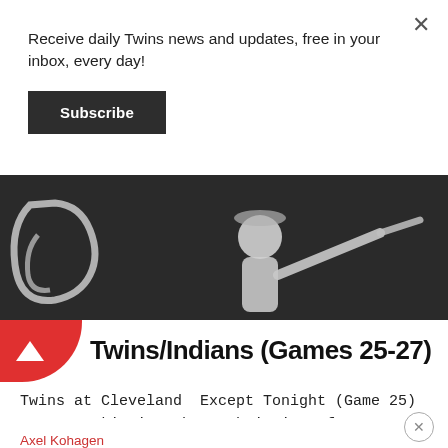Receive daily Twins news and updates, free in your inbox, every day!
Subscribe
[Figure (photo): Black and white photo of a baseball player swinging a bat, with a large decorative cursive letter visible on the left]
Twins/Indians (Games 25-27)
Twins at Cleveland  Except Tonight (Game 25)  For me, skipping the 10th inning of an extra innings game is like skipping the opener of a rock concert. You usually don't miss much.  Except tonight, when the...
Axel Kohagen